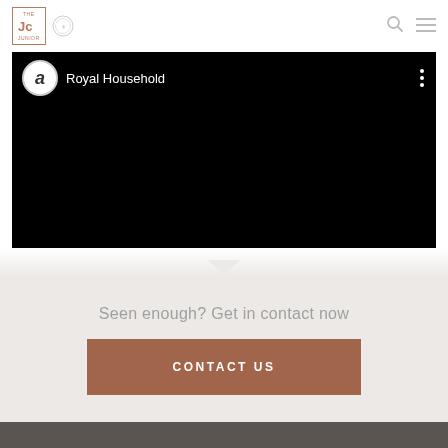Jc Royal Household
[Figure (screenshot): YouTube-style video player showing Royal Household channel with black video content area and channel logo]
Seen enough? Get in contact now
CONTACT US